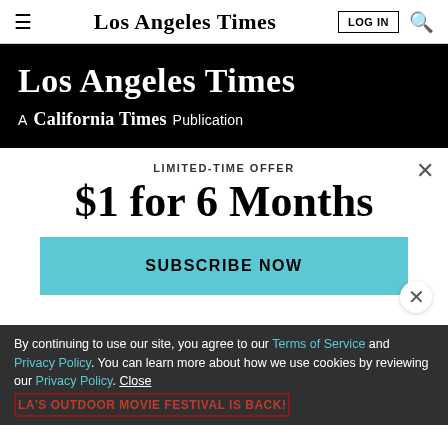Los Angeles Times — LOG IN [search icon]
[Figure (logo): Los Angeles Times masthead on black background with 'A California Times Publication' subtitle]
LIMITED-TIME OFFER
$1 for 6 Months
SUBSCRIBE NOW
By continuing to use our site, you agree to our Terms of Service and Privacy Policy. You can learn more about how we use cookies by reviewing our Privacy Policy. Close
LA'S OUTDOOR MOVIE FESTIVAL IS BACK!